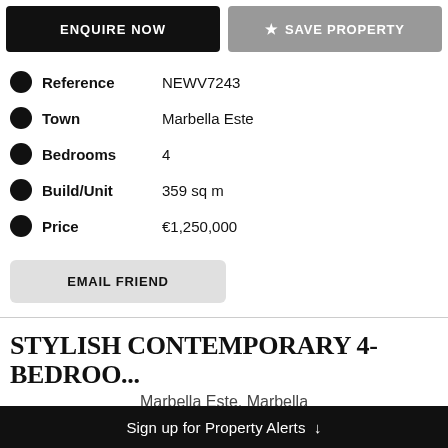ENQUIRE NOW
SAVE PROPERTY
Reference: NEWV7243
Town: Marbella Este
Bedrooms: 4
Build/Unit: 359 sq m
Price: €1,250,000
EMAIL FRIEND
STYLISH CONTEMPORARY 4-BEDROO...
Marbella Este, Marbella
€1,250,000
Sign up for Property Alerts ↓